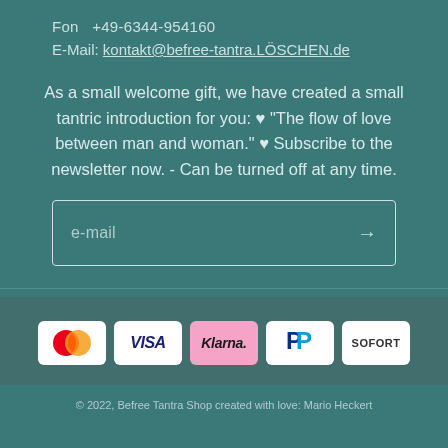Fon  +49-6344-954160
E-Mail: kontakt@befree-tantra.LÖSCHEN.de
As a small welcome gift, we have created a small tantric introduction for you: ♥ "The flow of love between man and woman." ♥ Subscribe to the newsletter now. - Can be turned off at any time.
[Figure (other): Email input field with placeholder text 'e-mail' and a right arrow submit button, outlined in light color on teal background]
[Figure (other): Payment method icons: Mastercard, VISA, Klarna, PayPal, SOFORT]
© 2022, Befree Tantra Shop created with love: Mario Heckert